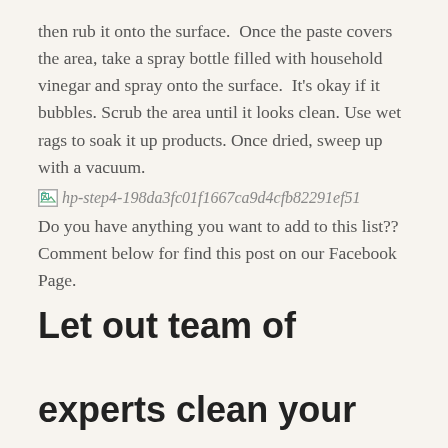then rub it onto the surface.  Once the paste covers the area, take a spray bottle filled with household vinegar and spray onto the surface.  It's okay if it bubbles.  Scrub the area until it looks clean. Use wet rags to soak it up products. Once dried, sweep up with a vacuum.
[Figure (other): Broken image placeholder with filename: hp-step4-198da3fc01f1667ca9d4cfb82291ef51]
Do you have anything you want to add to this list??  Comment below for find this post on our Facebook Page.
Let out team of experts clean your house in BOCA